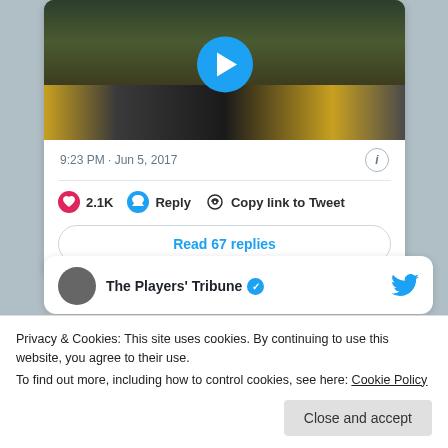[Figure (screenshot): Video thumbnail showing NHL Finals event with a person in costume on a stage and crowd in yellow/black colors, with a blue play button overlay]
9:23 PM · Jun 5, 2017
❤ 2.1K   Reply   Copy link to Tweet
Read 67 replies
The Players' Tribune
Privacy & Cookies: This site uses cookies. By continuing to use this website, you agree to their use.
To find out more, including how to control cookies, see here: Cookie Policy
Close and accept
playoff slogan.